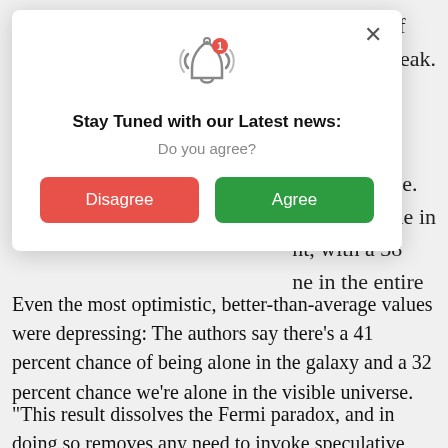istribution of they were bleak.
[Figure (screenshot): A modal popup dialog with a notification bell icon, title 'Stay Tuned with our Latest news:', subtitle 'Do you agree?', a red 'Disagree' button and a green 'Agree' button, with an X close button in the top right.]
robability (i.e. at we're alone in nt, with a 38 ne in the entire
Even the most optimistic, better-than-average values were depressing: The authors say there's a 41 percent chance of being alone in the galaxy and a 32 percent chance we're alone in the visible universe.
“This result dissolves the Fermi paradox, and in doing so removes any need to invoke speculative mechanisms by which civilizations would inevitably fail to have